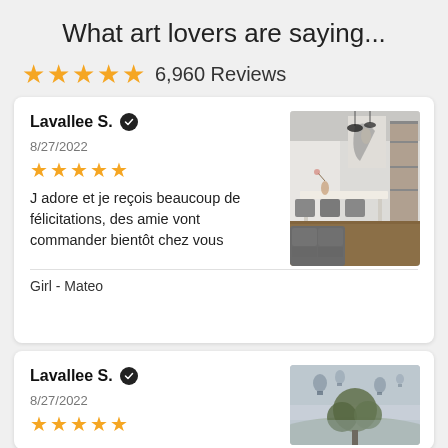What art lovers are saying...
6,960 Reviews
Lavallee S. ✓
8/27/2022
★★★★★
J adore et je reçois beaucoup de félicitations,  des amie vont commander bientôt chez vous
Girl - Mateo
[Figure (photo): Interior room photo with dining table, chairs, and abstract wall art]
Lavallee S. ✓
8/27/2022
★★★★★